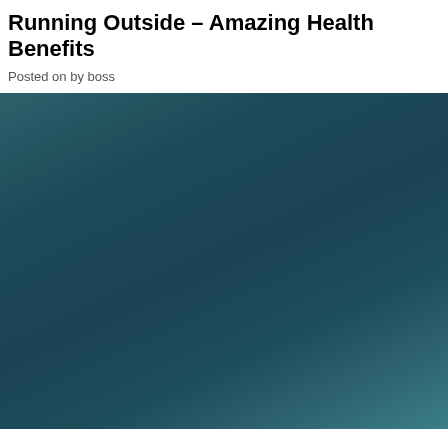Running Outside – Amazing Health Benefits
Posted on by boss
[Figure (photo): Dark teal/blue-green gradient background image, possibly a stylized outdoor or abstract photo with a dark teal gradient ranging from dark slate blue-green at top to a slightly lighter teal at the bottom right.]